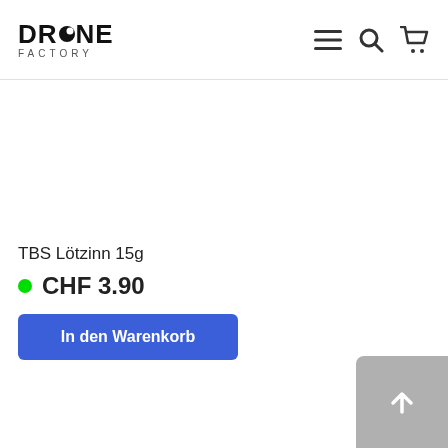[Figure (logo): Drone Factory logo with drone icon replacing the O in DRONE, and FACTORY text below]
[Figure (other): Navigation icons: hamburger menu, search magnifier, shopping cart]
[Figure (photo): Product image area (blank/white) for TBS Lötzinn 15g]
TBS Lötzinn 15g
CHF 3.90
In den Warenkorb